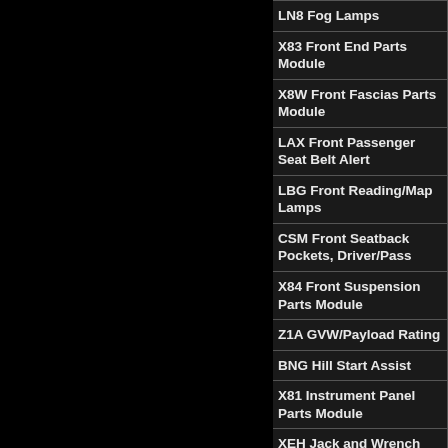| LN8 Fog Lamps |
| X83 Front End Parts Module |
| X8W Front Fascias Parts Module |
| LAX Front Passenger Seat Belt Alert |
| LBG Front Reading/Map Lamps |
| CSM Front Seatback Pockets, Driver/Pass |
| X84 Front Suspension Parts Module |
| Z1A GVW/Payload Rating |
| BNG Hill Start Assist |
| X81 Instrument Panel Parts Module |
| XEH Jack and Wrench |
| CVB Leather Wrapped Shift Knob |
| JKA Locking Glove Box |